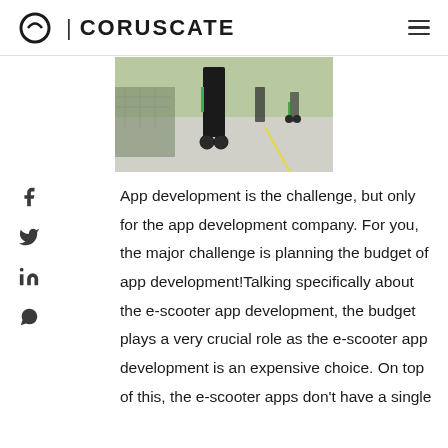CORUSCATE
[Figure (photo): People riding e-scooters on a path, viewed from behind, with green Lime scooters visible.]
App development is the challenge, but only for the app development company. For you, the major challenge is planning the budget of app development!Talking specifically about the e-scooter app development, the budget plays a very crucial role as the e-scooter app development is an expensive choice. On top of this, the e-scooter apps don't have a single